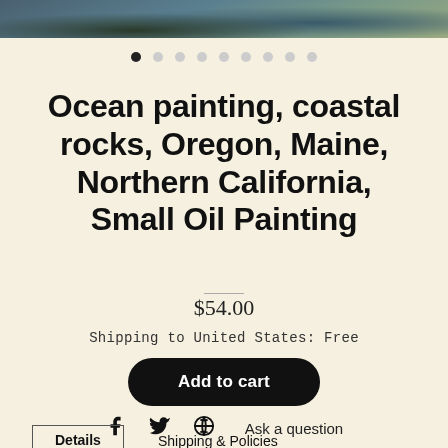[Figure (photo): Partial view of an ocean painting showing coastal rocks, dark water, and foamy waves]
Ocean painting, coastal rocks, Oregon, Maine, Northern California, Small Oil Painting
$54.00
Shipping to United States: Free
Add to cart
Ask a question
Details
Shipping & Policies